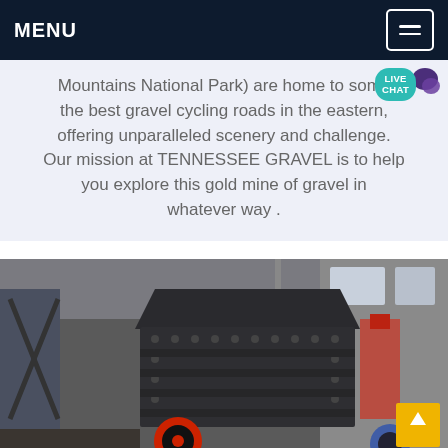MENU
Mountains National Park) are home to some the best gravel cycling roads in the eastern, offering unparalleled scenery and challenge. Our mission at TENNESSEE GRAVEL is to help you explore this gold mine of gravel in whatever way .
[Figure (photo): Industrial gravel crusher machine (impact crusher) in a warehouse/factory setting, with red wheels, photographed from the front-left angle. Background shows factory equipment and lighting.]